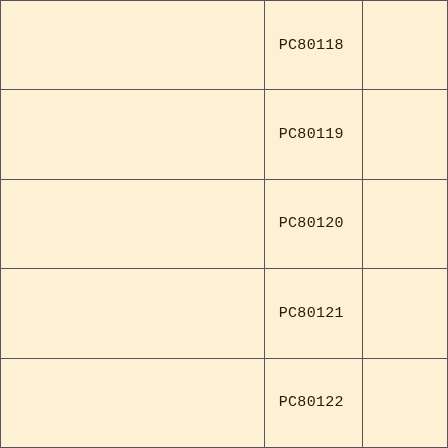|  | PC80118 |  |
|  | PC80119 |  |
|  | PC80120 |  |
|  | PC80121 |  |
|  | PC80122 |  |